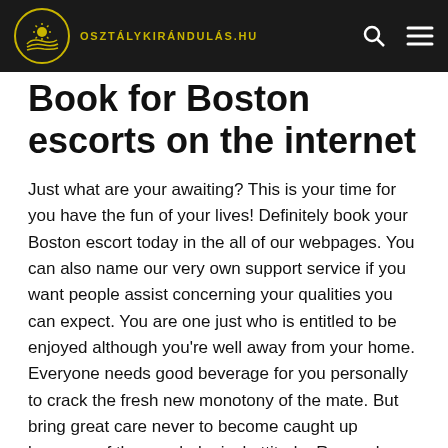osztálykirándulás.hu
Book for Boston escorts on the internet
Just what are your awaiting? This is your time for you have the fun of your lives! Definitely book your Boston escort today in the all of our webpages. You can also name our very own support service if you want people assist concerning your qualities you can expect. You are one just who is entitled to be enjoyed although you're well away from your home. Everyone needs good beverage for you personally to crack the fresh new monotony of the mate. But bring great care never to become caught up because of the psychological attitude. Remember, zero strings affixed, right?
An educated service a customers is also discovered are regarding somebody who try excited about the things